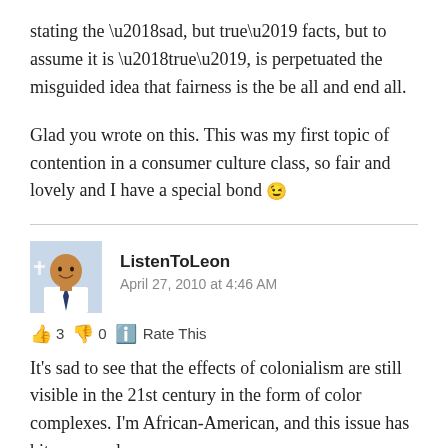stating the ‘sad, but true’ facts, but to assume it is ‘true’, is perpetuated the misguided idea that fairness is the be all and end all.
Glad you wrote on this. This was my first topic of contention in a consumer culture class, so fair and lovely and I have a special bond 😉
ListenToLeon
April 27, 2010 at 4:46 AM
👍 3 👎 0 ℹ️ Rate This
It’s sad to see that the effects of colonialism are still visible in the 21st century in the form of color complexes. I’m African-American, and this issue has hit my people